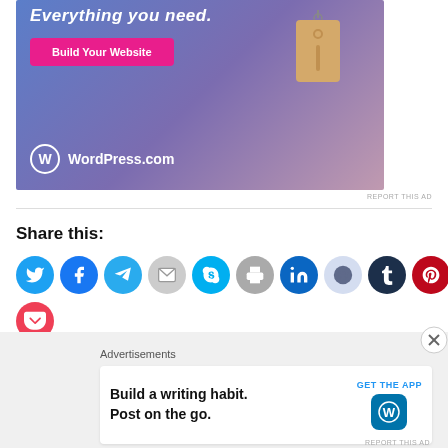[Figure (screenshot): WordPress.com advertisement banner with gradient blue-purple background, 'Build Your Website' pink button, hanging price tag image, and WordPress.com logo]
REPORT THIS AD
Share this:
[Figure (infographic): Row of social media share icon buttons: Twitter, Facebook, Telegram, Email, Skype, Print, LinkedIn, Reddit, Tumblr, Pinterest, WhatsApp, and Pocket]
Advertisements
[Figure (screenshot): Bottom advertisement bar: 'Build a writing habit. Post on the go.' with GET THE APP button and WordPress icon]
REPORT THIS AD